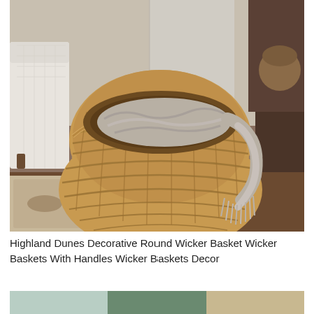[Figure (photo): A large round wicker basket filled with a gray fluffy throw blanket with fringe, sitting on a patterned rug beside a white upholstered sofa and wooden furniture legs, in a home interior setting.]
Highland Dunes Decorative Round Wicker Basket Wicker Baskets With Handles Wicker Baskets Decor
[Figure (photo): Partial view of another product photo at the bottom of the page.]